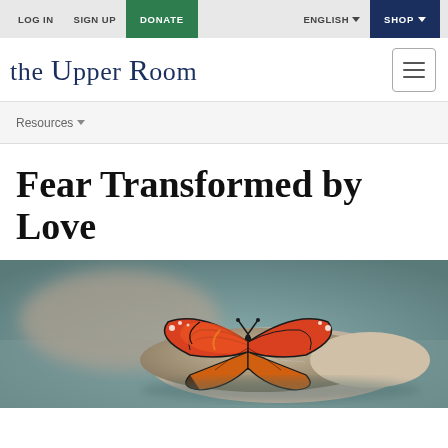LOG IN  SIGN UP  DONATE  ENGLISH  SHOP
THE UPPER ROOM
Resources
Fear Transformed by Love
[Figure (photo): A monarch butterfly resting on a worn sneaker shoe, photographed at ground level with a blurred background]